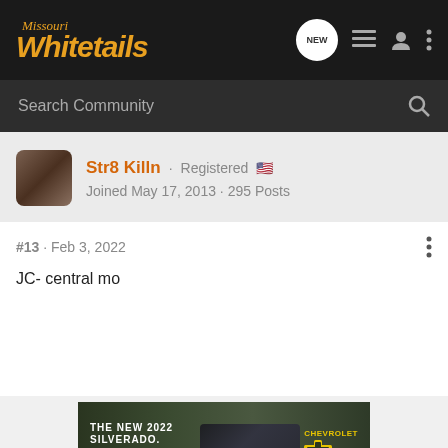Missouri Whitetails
Search Community
Str8 Killn · Registered 🇺🇸
Joined May 17, 2013 · 295 Posts
#13 · Feb 3, 2022
JC- central mo
[Figure (screenshot): Advertisement banner for The New 2022 Silverado by Chevrolet, showing a dark green truck with an Explore button]